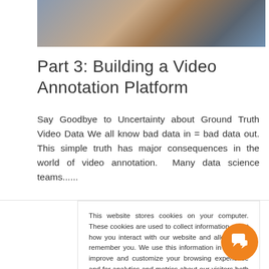[Figure (photo): Partial view of a person's hands typing on a laptop keyboard, photo cropped at top]
Part 3: Building a Video Annotation Platform
Say Goodbye to Uncertainty about Ground Truth Video Data We all know bad data in = bad data out. This simple truth has major consequences in the world of video annotation.  Many data science teams......
This website stores cookies on your computer. These cookies are used to collect information about how you interact with our website and allow us to remember you. We use this information in order to improve and customize your browsing experience and for analytics and metrics about our visitors both on this website and other media. To find out more about the cookies we use, see our Privacy Policy and Cookie Policy.
Accept